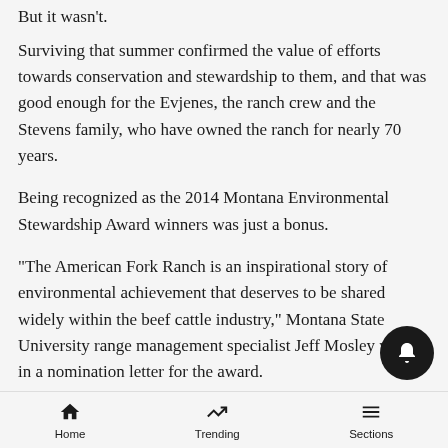But it wasn't.
Surviving that summer confirmed the value of efforts towards conservation and stewardship to them, and that was good enough for the Evjenes, the ranch crew and the Stevens family, who have owned the ranch for nearly 70 years.
Being recognized as the 2014 Montana Environmental Stewardship Award winners was just a bonus.
“The American Fork Ranch is an inspirational story of environmental achievement that deserves to be shared widely within the beef cattle industry,” Montana State University range management specialist Jeff Mosley wrote in a nomination letter for the award.
It’s about water, grass
Home  Trending  Sections